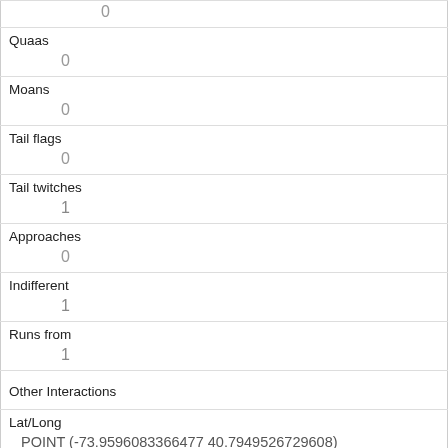|  | 0 |
| Quaas | 0 |
| Moans | 0 |
| Tail flags | 0 |
| Tail twitches | 1 |
| Approaches | 0 |
| Indifferent | 1 |
| Runs from | 1 |
| Other Interactions |  |
| Lat/Long | POINT (-73.9596083366477 40.7949526729608) |
| Link |  |